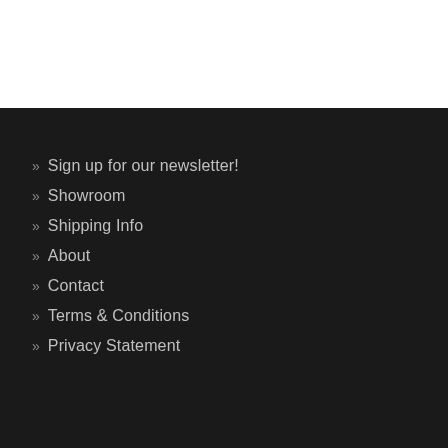» Sign up for our newsletter!
» Showroom
» Shipping Info
» About
» Contact
» Terms & Conditions
» Privacy Statement